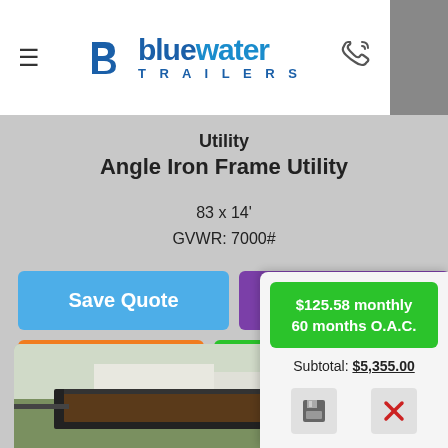[Figure (logo): Bluewater Trailers logo with hamburger menu icon and phone icon in white header bar]
Utility
Angle Iron Frame Utility
83 x 14'
GVWR: 7000#
Save Quote
Place Order
Ask a Question
Apply For Financing
Interested in Delive...
[Figure (photo): Photo of a black utility trailer with angle iron frame on green grass]
$125.58 monthly
60 months O.A.C.
Subtotal: $5,355.00